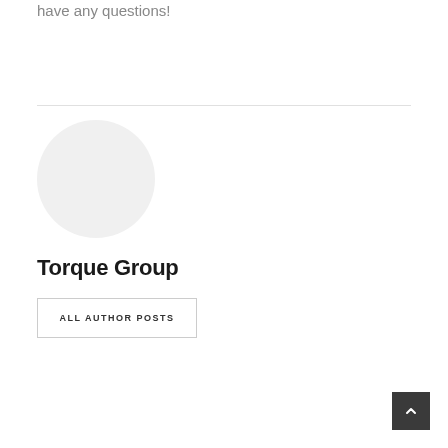have any questions!
[Figure (illustration): Circular gray avatar placeholder image]
Torque Group
ALL AUTHOR POSTS